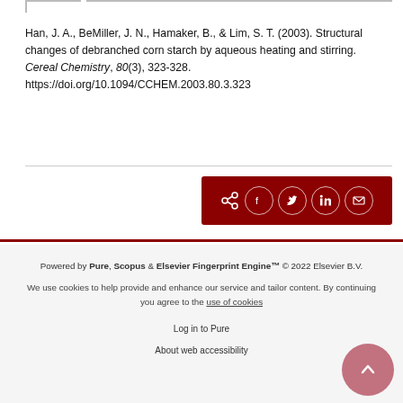Han, J. A., BeMiller, J. N., Hamaker, B., & Lim, S. T. (2003). Structural changes of debranched corn starch by aqueous heating and stirring. Cereal Chemistry, 80(3), 323-328. https://doi.org/10.1094/CCHEM.2003.80.3.323
[Figure (other): Dark red share bar with share icon and circular social media icons for Facebook, Twitter, LinkedIn, and Email]
Powered by Pure, Scopus & Elsevier Fingerprint Engine™ © 2022 Elsevier B.V.
We use cookies to help provide and enhance our service and tailor content. By continuing you agree to the use of cookies
Log in to Pure
About web accessibility